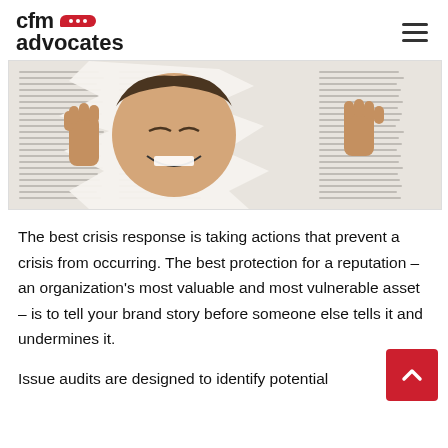cfm advocates
[Figure (photo): Person tearing through a newspaper page, grimacing, hands gripping the newsprint]
The best crisis response is taking actions that prevent a crisis from occurring. The best protection for a reputation – an organization's most valuable and most vulnerable asset – is to tell your brand story before someone else tells it and undermines it.
Issue audits are designed to identify potential